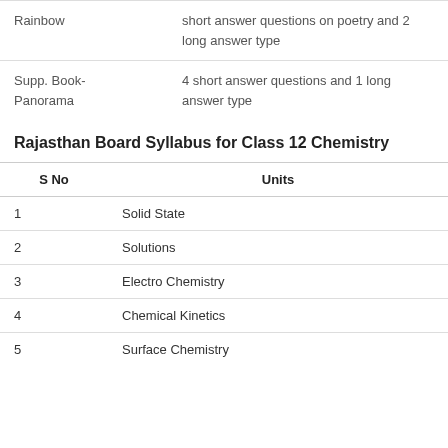| Rainbow | short answer questions on poetry and 2 long answer type |
| Supp. Book- Panorama | 4 short answer questions and 1 long answer type |
Rajasthan Board Syllabus for Class 12 Chemistry
| S No | Units |
| --- | --- |
| 1 | Solid State |
| 2 | Solutions |
| 3 | Electro Chemistry |
| 4 | Chemical Kinetics |
| 5 | Surface Chemistry |